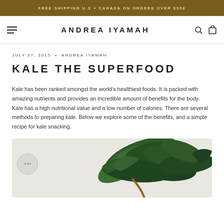FREE SHIPPING U.S + CANADA ON ORDERS OVER $350
ANDREA IYAMAH
JULY 27, 2015 • ANDREA IYAMAH
KALE THE SUPERFOOD
Kale has been ranked amongst the world's healthiest foods. It is packed with amazing nutrients and provides an incredible amount of benefits for the body. Kale has a high nutritional value and a low number of calories. There are several methods to preparing kale. Below we explore some of the benefits, and a simple recipe for kale snacking.
[Figure (photo): Photo of kale leaves on a light background, with a chat bubble overlay in the lower left corner]